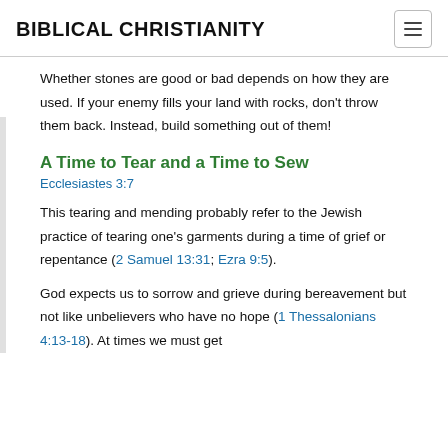BIBLICAL CHRISTIANITY
Whether stones are good or bad depends on how they are used. If your enemy fills your land with rocks, don't throw them back. Instead, build something out of them!
A Time to Tear and a Time to Sew
Ecclesiastes 3:7
This tearing and mending probably refer to the Jewish practice of tearing one's garments during a time of grief or repentance (2 Samuel 13:31; Ezra 9:5).
God expects us to sorrow and grieve during bereavement but not like unbelievers who have no hope (1 Thessalonians 4:13-18). At times we must get